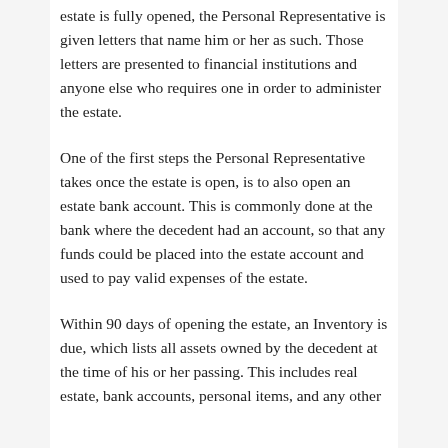estate is fully opened, the Personal Representative is given letters that name him or her as such. Those letters are presented to financial institutions and anyone else who requires one in order to administer the estate.
One of the first steps the Personal Representative takes once the estate is open, is to also open an estate bank account. This is commonly done at the bank where the decedent had an account, so that any funds could be placed into the estate account and used to pay valid expenses of the estate.
Within 90 days of opening the estate, an Inventory is due, which lists all assets owned by the decedent at the time of his or her passing. This includes real estate, bank accounts, personal items, and any other